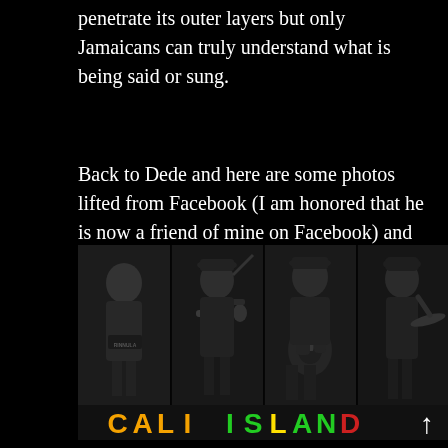penetrate its outer layers but only Jamaicans can truly understand what is being said or sung.
Back to Dede and here are some photos lifted from Facebook (I am honored that he is now a friend of mine on Facebook) and another YouTube track:
[Figure (photo): Black and white composite photo of four band members playing instruments (singer, trumpet player, guitarist, drummer) with 'CALI ISLAND' text in Rastafarian colors (orange, green, yellow, red) at the bottom]